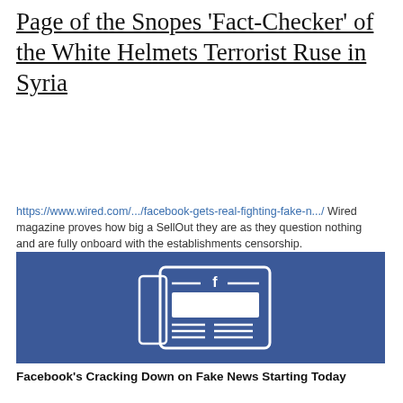Page of the Snopes ‘Fact-Checker’ of the White Helmets Terrorist Ruse in Syria
https://www.wired.com/.../facebook-gets-real-fighting-fake-n.../ Wired magazine proves how big a SellOut they are as they question nothing and are fully onboard with the establishments censorship.
[Figure (illustration): Blue background panel with a stylized newspaper icon featuring a white Facebook 'f' logo at the top, horizontal lines and a white rectangle representing article content.]
Facebook’s Cracking Down on Fake News Starting Today